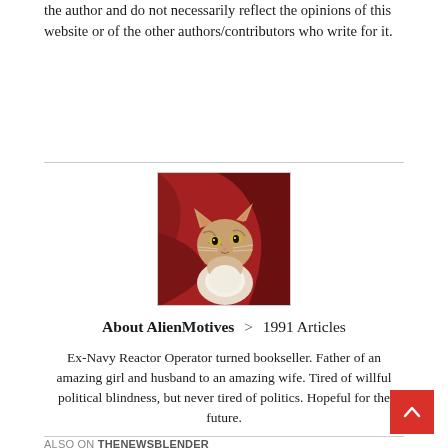the author and do not necessarily reflect the opinions of this website or of the other authors/contributors who write for it.
[Figure (photo): Photo of a cat (tabby with white chest) nestled in red fabric, looking upward. Shown in a square thumbnail with border.]
About AlienMotives > 1991 Articles
Ex-Navy Reactor Operator turned bookseller. Father of an amazing girl and husband to an amazing wife. Tired of willful political blindness, but never tired of politics. Hopeful for the future.
[Figure (other): Red back-to-top button with white upward chevron arrow in bottom right corner.]
ALSO ON THENEWSBLENDER